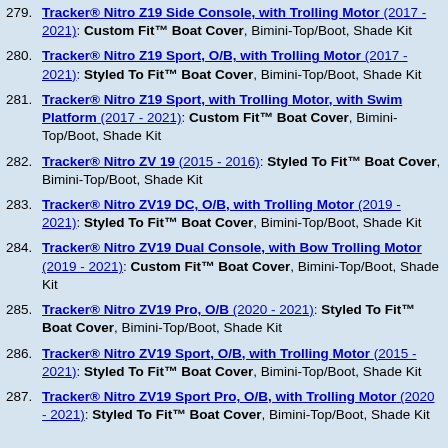279. Tracker® Nitro Z19 Side Console, with Trolling Motor (2017 - 2021): Custom Fit™ Boat Cover, Bimini-Top/Boot, Shade Kit
280. Tracker® Nitro Z19 Sport, O/B, with Trolling Motor (2017 - 2021): Styled To Fit™ Boat Cover, Bimini-Top/Boot, Shade Kit
281. Tracker® Nitro Z19 Sport, with Trolling Motor, with Swim Platform (2017 - 2021): Custom Fit™ Boat Cover, Bimini-Top/Boot, Shade Kit
282. Tracker® Nitro ZV 19 (2015 - 2016): Styled To Fit™ Boat Cover, Bimini-Top/Boot, Shade Kit
283. Tracker® Nitro ZV19 DC, O/B, with Trolling Motor (2019 - 2021): Styled To Fit™ Boat Cover, Bimini-Top/Boot, Shade Kit
284. Tracker® Nitro ZV19 Dual Console, with Bow Trolling Motor (2019 - 2021): Custom Fit™ Boat Cover, Bimini-Top/Boot, Shade Kit
285. Tracker® Nitro ZV19 Pro, O/B (2020 - 2021): Styled To Fit™ Boat Cover, Bimini-Top/Boot, Shade Kit
286. Tracker® Nitro ZV19 Sport, O/B, with Trolling Motor (2015 - 2021): Styled To Fit™ Boat Cover, Bimini-Top/Boot, Shade Kit
287. Tracker® Nitro ZV19 Sport Pro, O/B, with Trolling Motor (2020 - 2021): Styled To Fit™ Boat Cover, Bimini-Top/Boot, Shade Kit